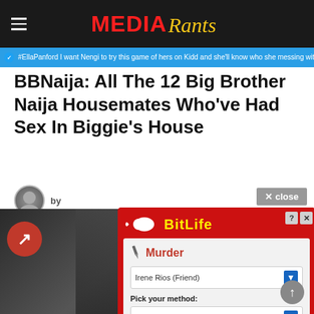Media Rants
#EllaPanford I want Nengi to try this game of hers on Kidd and she'll know who she messing with
BBNaija: All The 12 Big Brother Naija Housemates Who've Had Sex In Biggie's House
by
× close
[Figure (screenshot): BitLife mobile game advertisement overlay showing a Murder scenario with dropdown for 'Irene Rios (Friend)', method 'Electrocution', 'Do it!' and 'No, what am I thinking?' buttons]
[Figure (photo): Dark background photo of BBNaija housemates with BuzzFeed-style arrow icon overlay]